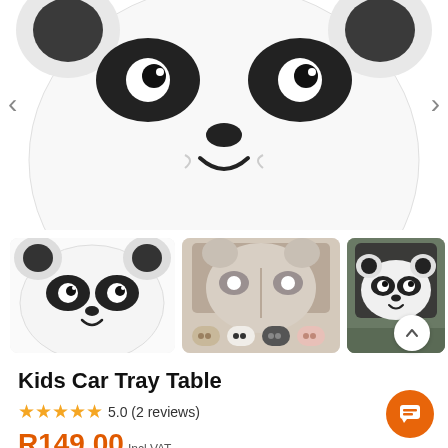[Figure (photo): Close-up top view of a white panda-face shaped kids car tray table showing panda eyes and nose details. Left and right navigation arrows visible on sides.]
[Figure (photo): Thumbnail 1: Front view of white panda-face shaped car tray table product]
[Figure (photo): Thumbnail 2: Beige/tan colored car tray table attached to car headrest, open showing cup holders, with 4 color variant swatches below (beige, white/panda, dark gray, pink)]
[Figure (photo): Thumbnail 3: Panda-face car tray table mounted on car headrest, seen from car interior]
Kids Car Tray Table
5.0 (2 reviews)
R149.00 Incl VAT